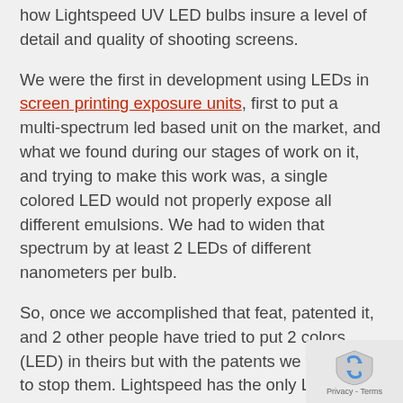how Lightspeed UV LED bulbs insure a level of detail and quality of shooting screens.
We were the first in development using LEDs in screen printing exposure units, first to put a multi-spectrum led based unit on the market, and what we found during our stages of work on it, and trying to make this work was, a single colored LED would not properly expose all different emulsions. We had to widen that spectrum by at least 2 LEDs of different nanometers per bulb.
So, once we accomplished that feat, patented it, and 2 other people have tried to put 2 colors (LED) in theirs but with the patents we were able to stop them. Lightspeed has the only LED exposure unit
[Figure (logo): reCAPTCHA privacy badge with shield icon and Privacy - Terms text]